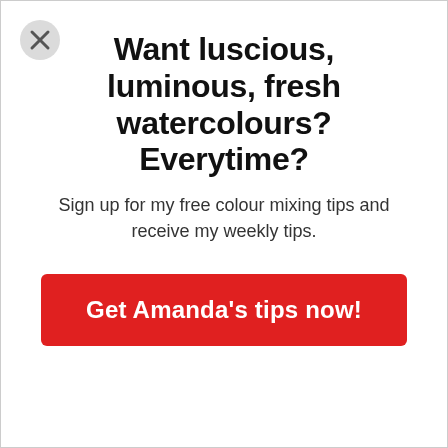[Figure (other): Close/dismiss button (circle with X) in top-left corner]
Want luscious, luminous, fresh watercolours? Everytime?
Sign up for my free colour mixing tips and receive my weekly tips.
Get Amanda's tips now!